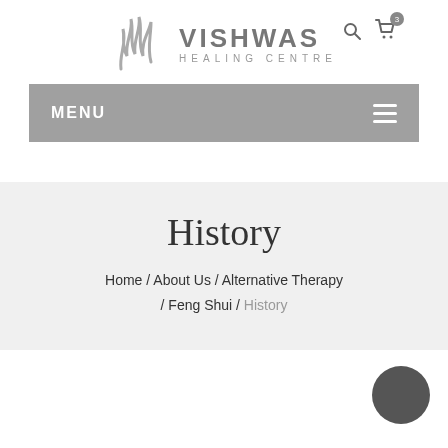[Figure (logo): Vishwas Healing Centre logo with stylized flame icon and text]
MENU
History
Home / About Us / Alternative Therapy / Feng Shui / History